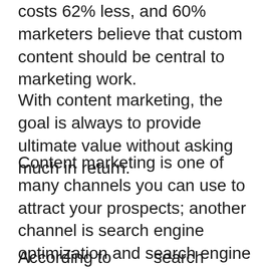costs 62% less, and 60% marketers believe that custom content should be central to marketing work.
With content marketing, the goal is always to provide ultimate value without asking much in return.
Content marketing is one of many channels you can use to attract your prospects; another channel is search engine optimization and search engine marketing. This involves taking advantage of search traffic online to attract prospects that are actively searching for your products and services online
According to        search engines drive